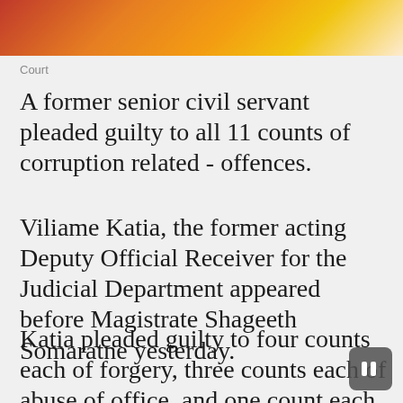[Figure (photo): Close-up photo of stacked books or papers with warm orange and yellow tones, cropped at top of page]
Court
A former senior civil servant pleaded guilty to all 11 counts of corruption related offences.
Viliame Katia, the former acting Deputy Official Receiver for the Judicial Department appeared before Magistrate Shageeth Somaratne yesterday.
Katia pleaded guilty to four counts each of forgery, three counts each of abuse of office, and one count each for embezzlement by servant, false information to public servant, unauthorised modification of data, and obtaining a financial advantage. Fiji